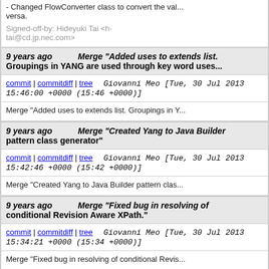- Changed FlowConverter class to convert the val... versa.
Signed-off-by: Hideyuki Tai <h-tai@cd.jp.nec.com>
9 years ago   Merge "Added uses to extends list. Groupings in YANG are used through key word uses...
commit | commitdiff | tree   Giovanni Meo [Tue, 30 Jul 2013 15:46:00 +0000 (15:46 +0000)]
Merge "Added uses to extends list. Groupings in Y...
9 years ago   Merge "Created Yang to Java Builder pattern class generator"
commit | commitdiff | tree   Giovanni Meo [Tue, 30 Jul 2013 15:42:46 +0000 (15:42 +0000)]
Merge "Created Yang to Java Builder pattern class...
9 years ago   Merge "Fixed bug in resolving of conditional Revision Aware XPath."
commit | commitdiff | tree   Giovanni Meo [Tue, 30 Jul 2013 15:34:21 +0000 (15:34 +0000)]
Merge "Fixed bug in resolving of conditional Revis...